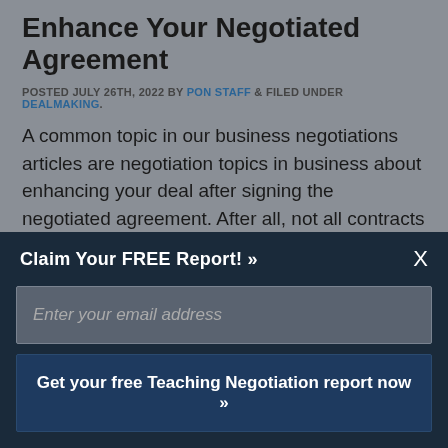Enhance Your Negotiated Agreement
POSTED JULY 26TH, 2022 BY PON STAFF & FILED UNDER DEALMAKING.
A common topic in our business negotiations articles are negotiation topics in business about enhancing your deal after signing the negotiated agreement. After all, not all contracts are created equal. … READ ▶
Managing Difficult Conversations: Achieving Objectives with Backmapping Negotiation Strategies
Claim Your FREE Report! »
Enter your email address
Get your free Teaching Negotiation report now »